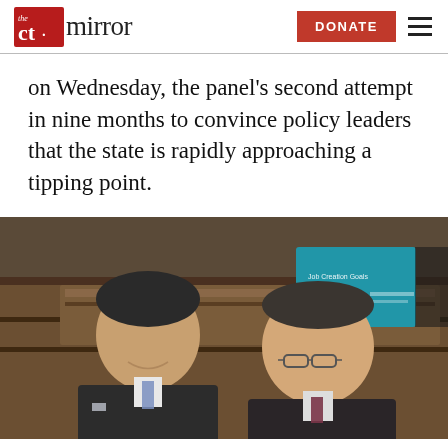the CT mirror — DONATE
on Wednesday, the panel's second attempt in nine months to convince policy leaders that the state is rapidly approaching a tipping point.
[Figure (photo): Two men in suits seated at what appears to be a formal hearing room or legislative chamber. Wooden benches visible in background, along with a person in background and a blue presentation screen. The men appear to be smiling.]